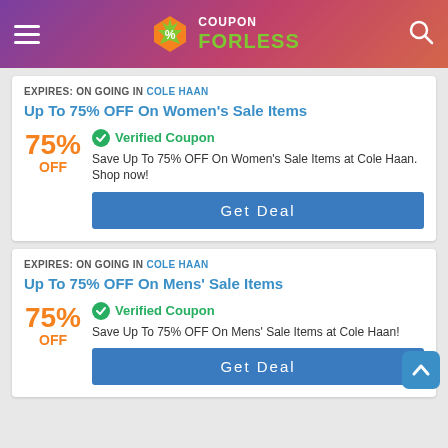Coupon ForLess
EXPIRES: ON GOING in Cole Haan
Up To 75% OFF On Women's Sale Items
75% OFF
✓ Verified Coupon
Save Up To 75% OFF On Women's Sale Items at Cole Haan. Shop now!
Get Deal
EXPIRES: ON GOING in Cole Haan
Up To 75% OFF On Mens' Sale Items
75% OFF
✓ Verified Coupon
Save Up To 75% OFF On Mens' Sale Items at Cole Haan!
Get Deal